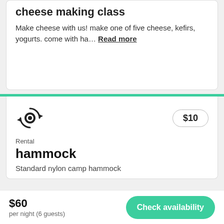cheese making class
Make cheese with us! make one of five cheese, kefirs, yogurts. come with ha… Read more
[Figure (illustration): Renewal/refresh circular icon with arrow]
$10
Rental
hammock
Standard nylon camp hammock
$60 per night (6 guests)
Check availability